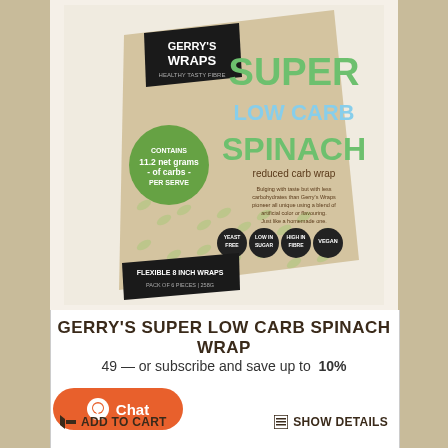[Figure (photo): Product photo of Gerry's Wraps Super Low Carb Spinach Wrap package — a tan/kraft paper bag with green leaf pattern, black logo panel, large 'SUPER LOW CARB SPINACH' text, reduced carb wrap label, and icons for yeast free, low sugar, high in fibre, vegan.]
GERRY'S SUPER LOW CARB SPINACH WRAP
49 — or subscribe and save up to 10%
Chat
ADD TO CART
SHOW DETAILS